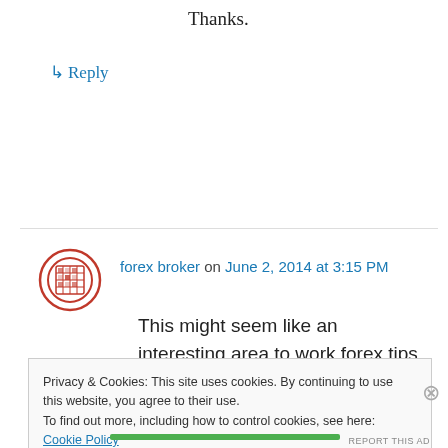Thanks.
↳ Reply
forex broker on June 2, 2014 at 3:15 PM
This might seem like an interesting area to work forex tips in strip clubs.
Privacy & Cookies: This site uses cookies. By continuing to use this website, you agree to their use.
To find out more, including how to control cookies, see here: Cookie Policy
Close and accept